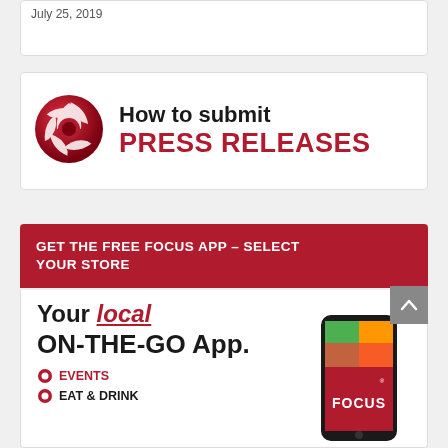July 25, 2019
[Figure (infographic): How to submit PRESS RELEASES banner with red shutter/camera aperture icon on the left and bold text on the right]
GET THE FREE FOCUS APP – SELECT YOUR STORE
[Figure (infographic): Your local ON-THE-GO App. promotion with EVENTS, EAT & DRINK list items and a smartphone showing FOCUS app]
EVENTS
EAT & DRINK